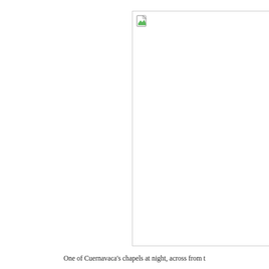[Figure (photo): A photograph (broken/missing image) of one of Cuernavaca's chapels at night, positioned in the right portion of the page. The image placeholder shows a broken image icon in the top-left corner with a white rectangle and gray border.]
One of Cuernavaca's chapels at night, across from t